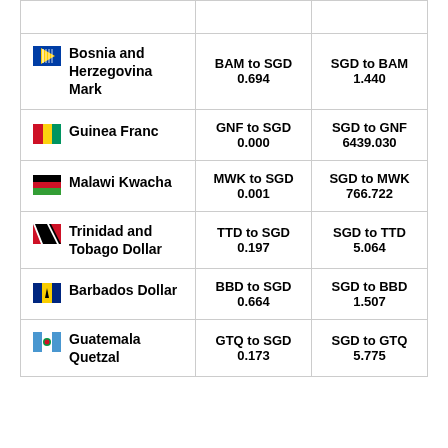| Bosnia and Herzegovina Mark | BAM to SGD
0.694 | SGD to BAM
1.440 |
| Guinea Franc | GNF to SGD
0.000 | SGD to GNF
6439.030 |
| Malawi Kwacha | MWK to SGD
0.001 | SGD to MWK
766.722 |
| Trinidad and Tobago Dollar | TTD to SGD
0.197 | SGD to TTD
5.064 |
| Barbados Dollar | BBD to SGD
0.664 | SGD to BBD
1.507 |
| Guatemala Quetzal | GTQ to SGD
0.173 | SGD to GTQ
5.775 |